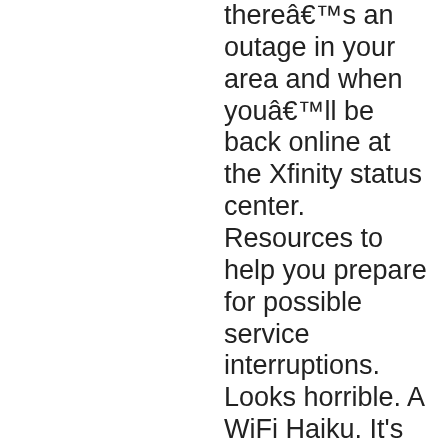thereâs an outage in your area and when youâll be back online at the Xfinity status center. Resources to help you prepare for possible service interruptions. Looks horrible. A WiFi Haiku. It's not always clear what is the best way to talk to Comcast representatives, so we started compiling this information built from suggestions from the customer community. Wi fi extender and all and my service is awful. @DMcintyreGirl @vipinkalra2000 @comcastcares Same in Miami, FL. Comcast is continuous Reddit...